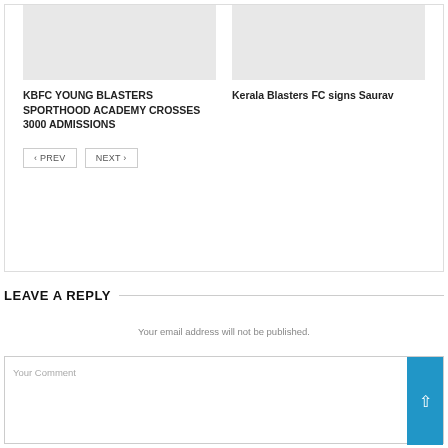[Figure (illustration): Gray placeholder image for KBFC article]
[Figure (illustration): Gray placeholder image for Kerala Blasters FC article]
KBFC YOUNG BLASTERS SPORTHOOD ACADEMY CROSSES 3000 ADMISSIONS
Kerala Blasters FC signs Saurav
< PREV
NEXT >
LEAVE A REPLY
Your email address will not be published.
Your Comment